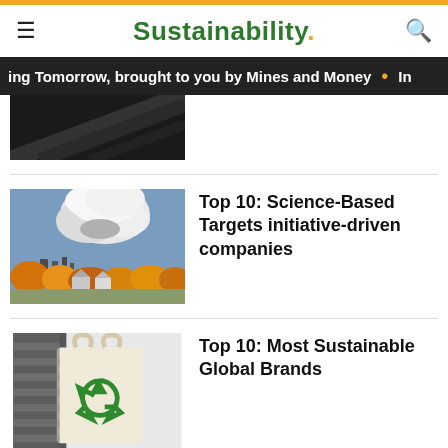Sustainability.
ing Tomorrow, brought to you by Mines and Money
[Figure (photo): Dark abstract photo, partially visible at top of page]
Top 10: Science-Based Targets initiative-driven companies
[Figure (photo): Industrial smokestacks with large smoke plume, autumn trees and houses in foreground]
Top 10: Most Sustainable Global Brands
[Figure (photo): Person holding a canvas tote bag with green recycling symbol, striped fabric visible]